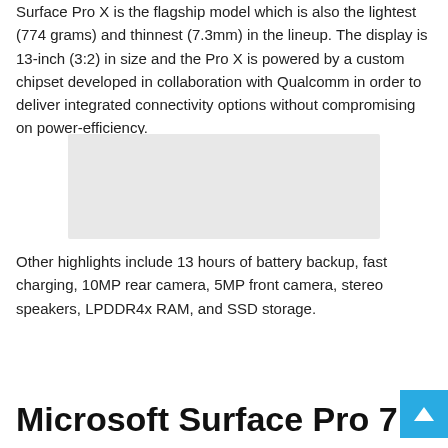Surface Pro X is the flagship model which is also the lightest (774 grams) and thinnest (7.3mm) in the lineup. The display is 13-inch (3:2) in size and the Pro X is powered by a custom chipset developed in collaboration with Qualcomm in order to deliver integrated connectivity options without compromising on power-efficiency.
[Figure (photo): A light grey rectangular placeholder image representing a product photo of the Microsoft Surface Pro X.]
Other highlights include 13 hours of battery backup, fast charging, 10MP rear camera, 5MP front camera, stereo speakers, LPDDR4x RAM, and SSD storage.
Microsoft Surface Pro 7